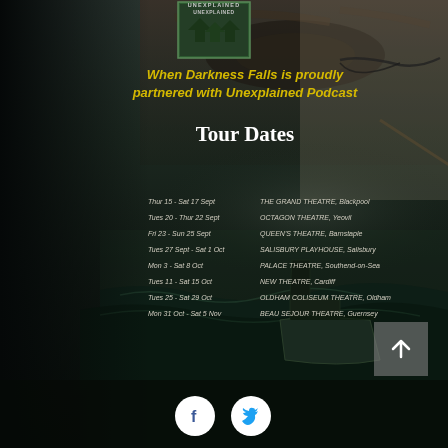[Figure (illustration): Dark atmospheric theatre promotional poster background with a close-up eye, stormy ocean waves, and a wooden boat in teal/dark tones]
UNEXPLAINED
When Darkness Falls is proudly partnered with Unexplained Podcast
Tour Dates
Thur 15 - Sat 17 Sept   THE GRAND THEATRE, Blackpool
Tues 20 - Thur 22 Sept   OCTAGON THEATRE, Yeovil
Fri 23 - Sun 25 Sept   QUEEN'S THEATRE, Barnstaple
Tues 27 Sept - Sat 1 Oct   SALISBURY PLAYHOUSE, Salisbury
Mon 3 - Sat 8 Oct   PALACE THEATRE, Southend-on-Sea
Tues 11 - Sat 15 Oct   NEW THEATRE, Cardiff
Tues 25 - Sat 29 Oct   OLDHAM COLISEUM THEATRE, Oldham
Mon 31 Oct - Sat 5 Nov   BEAU SEJOUR THEATRE, Guernsey
[Figure (illustration): Facebook and Twitter social media icons (white circles with f and bird logos)]